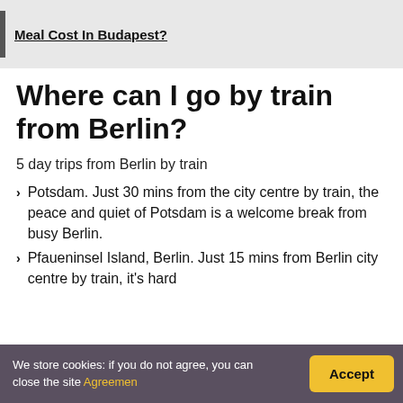Meal Cost In Budapest?
Where can I go by train from Berlin?
5 day trips from Berlin by train
Potsdam. Just 30 mins from the city centre by train, the peace and quiet of Potsdam is a welcome break from busy Berlin.
Pfaueninsel Island, Berlin. Just 15 mins from Berlin city centre by train, it's hard
We store cookies: if you do not agree, you can close the site Agreemen
Accept